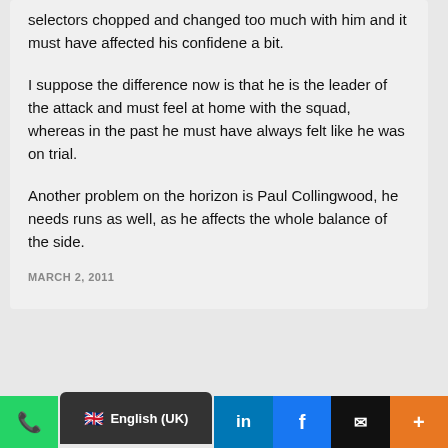selectors chopped and changed too much with him and it must have affected his confidene a bit.
I suppose the difference now is that he is the leader of the attack and must feel at home with the squad, whereas in the past he must have always felt like he was on trial.
Another problem on the horizon is Paul Collingwood, he needs runs as well, as he affects the whole balance of the side.
MARCH 2, 2011